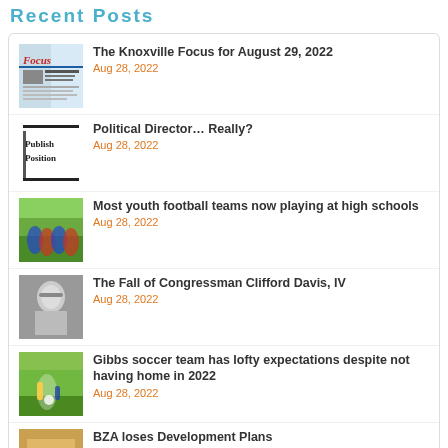Recent Posts
The Knoxville Focus for August 29, 2022 — Aug 28, 2022
Political Director… Really? — Aug 28, 2022
Most youth football teams now playing at high schools — Aug 28, 2022
The Fall of Congressman Clifford Davis, IV — Aug 28, 2022
Gibbs soccer team has lofty expectations despite not having home in 2022 — Aug 28, 2022
BZA loses Development Plans